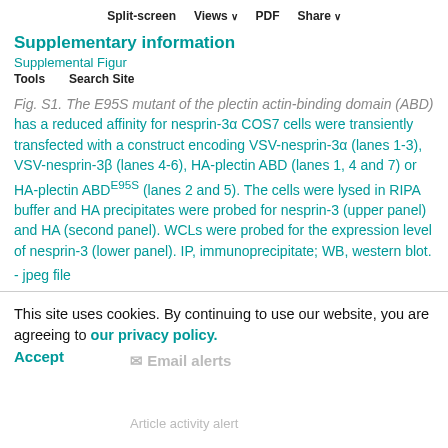Supplementary information
Supplemental Figure
Fig. S1. The E95S mutant of the plectin actin-binding domain (ABD) has a reduced affinity for nesprin-3α COS7 cells were transiently transfected with a construct encoding VSV-nesprin-3α (lanes 1-3), VSV-nesprin-3β (lanes 4-6), HA-plectin ABD (lanes 1, 4 and 7) or HA-plectin ABDE95S (lanes 2 and 5). The cells were lysed in RIPA buffer and HA precipitates were probed for nesprin-3 (upper panel) and HA (second panel). WCLs were probed for the expression level of nesprin-3 (lower panel). IP, immunoprecipitate; WB, western blot. - jpeg file
This site uses cookies. By continuing to use our website, you are agreeing to our privacy policy. Accept